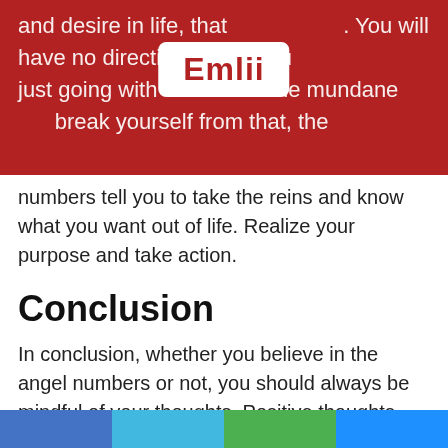[Figure (logo): Emlii logo: white rounded rectangle with red bold text 'Emlii' on a dark red banner background]
and desire in life, that you will have no direction in life. You will just be going with the flow of the mundane life. To break yourself from that, the numbers tell you to take the reins and know what you want out of life. Realize your purpose and take action.
Conclusion
In conclusion, whether you believe in the angel numbers or not, you should always be mindful of your thoughts. Positive thoughts bring about a positive perspective in life, pull you towards positive actions and decisions that will bring you closer to the desires of your heart. Veer away from negative thoughts as it attracts the hostility of life. Next time you see the number 111, take it as a friendly reminder to stay positive in mind and your actions, and maybe strike a smile for your